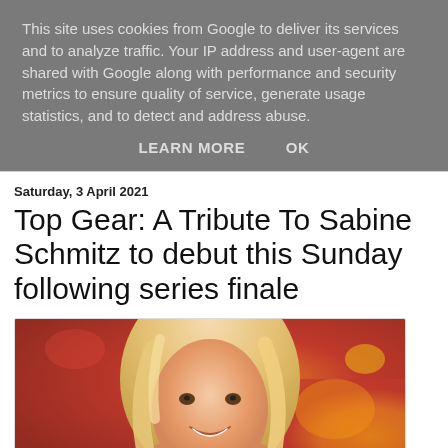This site uses cookies from Google to deliver its services and to analyze traffic. Your IP address and user-agent are shared with Google along with performance and security metrics to ensure quality of service, generate usage statistics, and to detect and address abuse.
LEARN MORE    OK
Saturday, 3 April 2021
Top Gear: A Tribute To Sabine Schmitz to debut this Sunday following series finale
[Figure (photo): A smiling blonde woman photographed against a colorful warm-toned background with orange and yellow hues.]